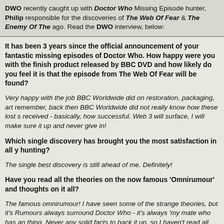DWO recently caught up with Doctor Who Missing Episode hunter, Philip responsible for the discoveries of The Web Of Fear & The Enemy Of The ago. Read the DWO interview, below:
It has been 3 years since the official announcement of your fantastic missing episodes of Doctor Who. How happy were you with the finish product released by BBC DVD and how likely do you feel it is that the episode from The Web Of Fear will be found?
Very happy with the job BBC Worldwide did on restoration, packaging, art remember, back then BBC Worldwide did not really know how these lost s received - basically, how successful. Web 3 will surface, I will make sure it up and never give in!
Which single discovery has brought you the most satisfaction in all y hunting?
The single best discovery is still ahead of me. Definitely!
Have you read all the theories on the now famous 'Omnirumour' and thoughts on it all?
The famous omnirumour! I have seen some of the strange theories, but it's Rumours always surround Doctor Who - it's always 'my mate who has an thing. Never any solid facts to back it up, so I haven't read all the theories, the hard facts. However, I will say the truth is stranger than fiction and my believe it when you see it!